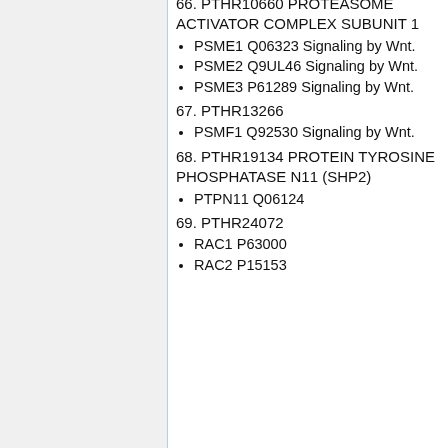66. PTHR10660 PROTEASOME ACTIVATOR COMPLEX SUBUNIT 1
PSME1 Q06323 Signaling by Wnt.
PSME2 Q9UL46 Signaling by Wnt.
PSME3 P61289 Signaling by Wnt.
67. PTHR13266
PSMF1 Q92530 Signaling by Wnt.
68. PTHR19134 PROTEIN TYROSINE PHOSPHATASE N11 (SHP2)
PTPN11 Q06124
69. PTHR24072
RAC1 P63000
RAC2 P15153